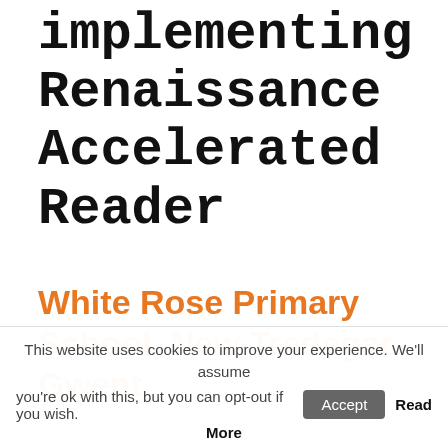implementing Renaissance Accelerated Reader
White Rose Primary School, New Tredegar, Gwent
White Rose Primary School has over 285 pupils on roll, and is using Accelerated Reader with Years 5 & 6, around 75 children. The school took on Accelerated Reader in September 2016 as part of its
This website uses cookies to improve your experience. We'll assume you're ok with this, but you can opt-out if you wish. Accept Read More